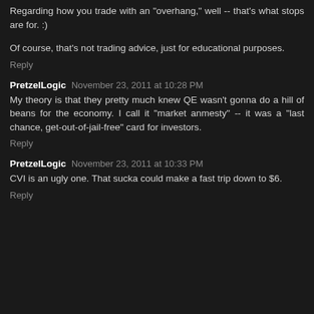Regarding how you trade with an "overhang," well -- that's what stops are for.  :)
Of course, that's not trading advice, just for educational purposes.
Reply
PretzelLogic  November 23, 2011 at 10:28 PM
My theory is that they pretty much knew QE wasn't gonna do a hill of beans for the economy.  I call it "market anmesty" -- it was a "last chance, get-out-of-jail-free" card for investors.
Reply
PretzelLogic  November 23, 2011 at 10:33 PM
CVI is an ugly one.  That sucka could make a fast trip down to $6.
Reply